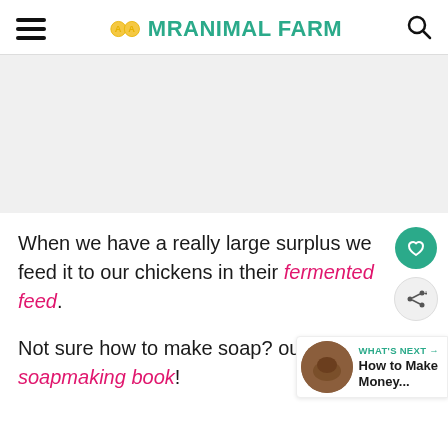MRANIMAL FARM
[Figure (other): Advertisement placeholder area, light gray background]
When we have a really large surplus we feed it to our chickens in their fermented feed.
Not sure how to make soap? our favorite soapmaking book!